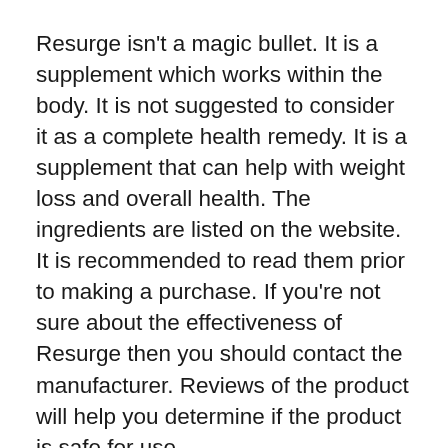Resurge isn't a magic bullet. It is a supplement which works within the body. It is not suggested to consider it as a complete health remedy. It is a supplement that can help with weight loss and overall health. The ingredients are listed on the website. It is recommended to read them prior to making a purchase. If you're not sure about the effectiveness of Resurge then you should contact the manufacturer. Reviews of the product will help you determine if the product is safe for use.
Its ingredients are safe to use. In fact they are common in similar products. Resurge is safe and effective in weight loss. The price of the supplement is $49 , which includes